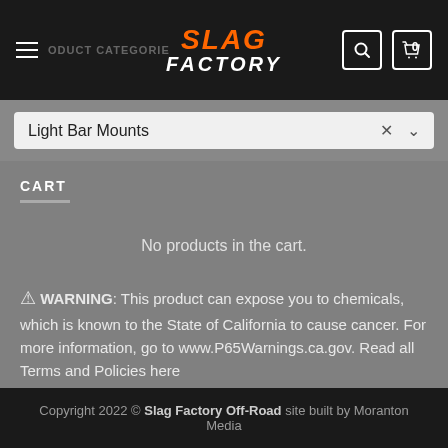SLAG FACTORY — navigation header with logo, hamburger menu, search and cart icons
Light Bar Mounts
CART
No products in the cart.
⚠ WARNING: This product can expose you to chemicals, which is known to the State of California to cause cancer. For more information, go to www.P65Warnings.ca.gov. Read all Terms and Policies here
Copyright 2022 © Slag Factory Off-Road site built by Moranton Media